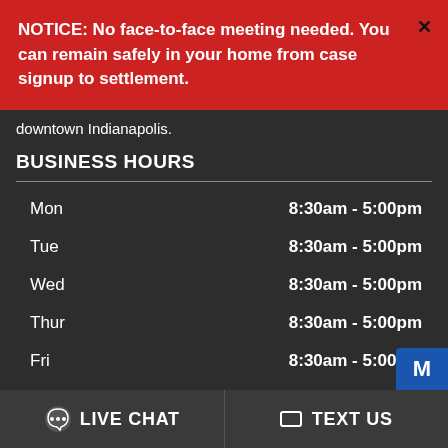NOTICE: No face-to-face meeting needed. You can remain safely in your home from case signup to settlement.
downtown Indianapolis.
BUSINESS HOURS
| Day | Hours |
| --- | --- |
| Mon | 8:30am - 5:00pm |
| Tue | 8:30am - 5:00pm |
| Wed | 8:30am - 5:00pm |
| Thur | 8:30am - 5:00pm |
| Fri | 8:30am - 5:00pm |
LIVE CHAT
TEXT US